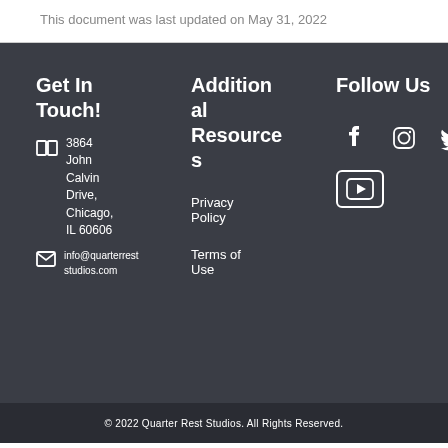This document was last updated on May 31, 2022
Get In Touch!
3864 John Calvin Drive, Chicago, IL 60606
info@quarterreststudios.com
Additional Resources
Privacy Policy
Terms of Use
Follow Us
[Figure (infographic): Social media icons: Facebook, Instagram, Twitter, YouTube]
© 2022 Quarter Rest Studios. All Rights Reserved.